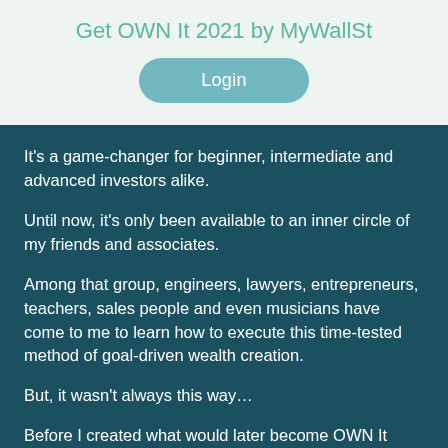Get OWN It 2021 by MyWallSt
[Figure (other): Login button — teal rounded rectangle with white text 'Login']
It's a game-changer for beginner, intermediate and advanced investors alike.
Until now, it's only been available to an inner circle of my friends and associates.
Among that group, engineers, lawyers, entrepreneurs, teachers, sales people and even musicians have come to me to learn how to execute this time-tested method of goal-driven wealth creation.
But, it wasn't always this way…
Before I created what would later become OWN It